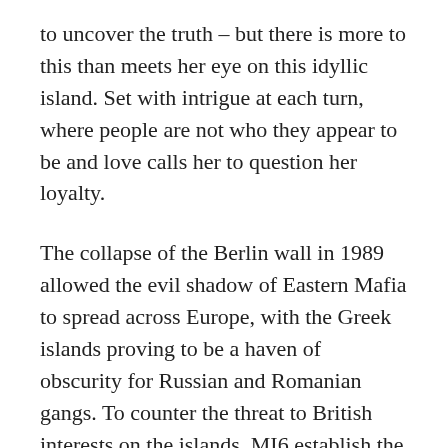to uncover the truth – but there is more to this than meets her eye on this idyllic island. Set with intrigue at each turn, where people are not who they appear to be and love calls her to question her loyalty.
The collapse of the Berlin wall in 1989 allowed the evil shadow of Eastern Mafia to spread across Europe, with the Greek islands proving to be a haven of obscurity for Russian and Romanian gangs. To counter the threat to British interests on the islands, MI6 establish the 'Greek Unit'. It's now 1994 and the Unit reacts quickly following the death of a British agent on the island of Petromos by sending a female agent, her cover – a tourist supposedly